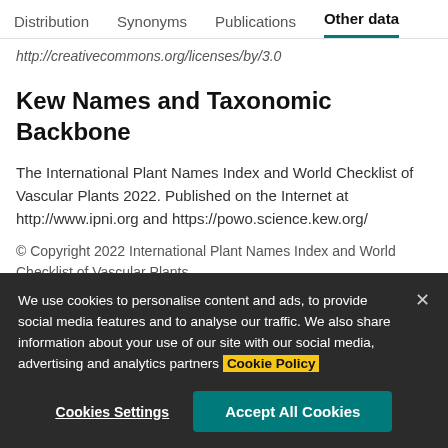Distribution  Synonyms  Publications  Other data
http://creativecommons.org/licenses/by/3.0
Kew Names and Taxonomic Backbone
The International Plant Names Index and World Checklist of Vascular Plants 2022. Published on the Internet at http://www.ipni.org and https://powo.science.kew.org/
© Copyright 2022 International Plant Names Index and World Checklist of Vascular Plants.
We use cookies to personalise content and ads, to provide social media features and to analyse our traffic. We also share information about your use of our site with our social media, advertising and analytics partners Cookie Policy
Cookies Settings  Accept All Cookies